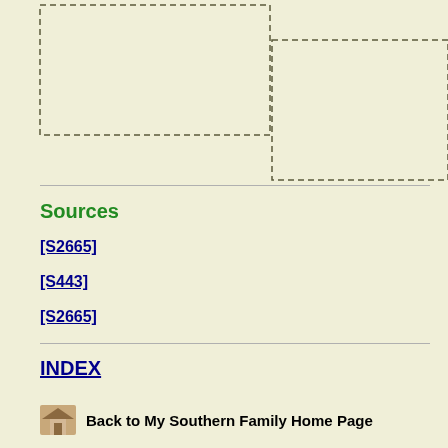[Figure (other): Genealogy diagram with two dashed rectangular boxes arranged in an L-shape or staircase pattern on a beige background]
Sources
[S2665]
[S443]
[S2665]
INDEX
Back to My Southern Family Home Page